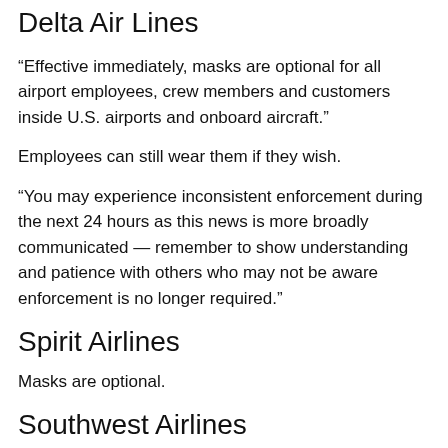Delta Air Lines
“Effective immediately, masks are optional for all airport employees, crew members and customers inside U.S. airports and onboard aircraft.”
Employees can still wear them if they wish.
“You may experience inconsistent enforcement during the next 24 hours as this news is more broadly communicated — remember to show understanding and patience with others who may not be aware enforcement is no longer required.”
Spirit Airlines
Masks are optional.
Southwest Airlines